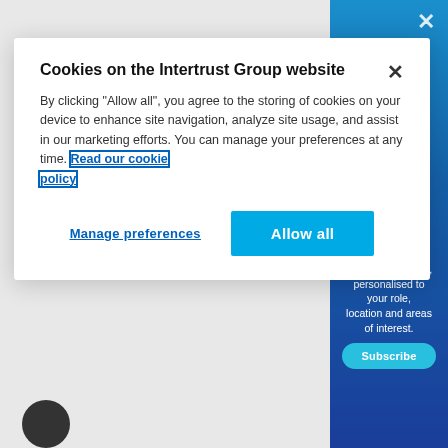[Figure (screenshot): Website background with light gray on left side and blue gradient on right side, showing partial website content including 'news and insights, personalised to your role, location and areas of interest.' text and a Subscribe button, plus an avatar circle at bottom left.]
Cookies on the Intertrust Group website
By clicking "Allow all", you agree to the storing of cookies on your device to enhance site navigation, analyze site usage, and assist in our marketing efforts. You can manage your preferences at any time. Read our cookie policy
Manage preferences
Allow all